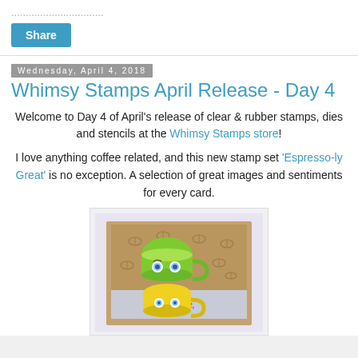Share
Wednesday, April 4, 2018
Whimsy Stamps April Release - Day 4
Welcome to Day 4 of April's release of clear & rubber stamps, dies and stencils at the Whimsy Stamps store!
I love anything coffee related, and this new stamp set 'Espresso-ly Great' is no exception. A selection of great images and sentiments for every card.
[Figure (photo): A handmade card featuring a green coffee cup character with googly eyes stacked on a yellow coffee cup character, on a brown background with coffee bean stamps, with text 'But first,' visible at the bottom.]